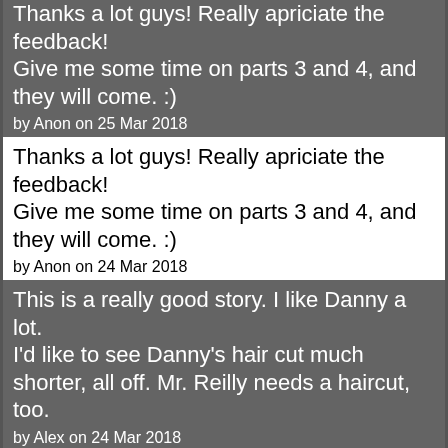Thanks a lot guys! Really apriciate the feedback! Give me some time on parts 3 and 4, and they will come. :) by Anon on 25 Mar 2018
Thanks a lot guys! Really apriciate the feedback! Give me some time on parts 3 and 4, and they will come. :) by Anon on 24 Mar 2018
This is a really good story. I like Danny a lot. I'd like to see Danny's hair cut much shorter, all off. Mr. Reilly needs a haircut, too. by Alex on 24 Mar 2018
Tristan, I certainly hope not. I hope they both find girls who like young men with short hair cuts and become "more than just friends" with them. :)